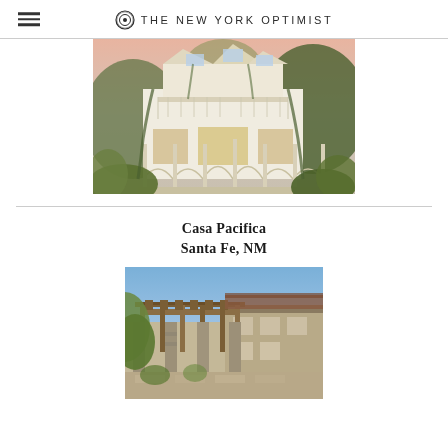THE NEW YORK OPTIMIST
[Figure (photo): Victorian-style white mansion with large wrap-around porch, balconies, and lush green vines, photographed at dusk with warm interior lighting]
Casa Pacifica
Santa Fe, NM
[Figure (photo): Exterior of Casa Pacifica in Santa Fe, NM showing a stone and wood pergola entrance with desert landscaping and blue sky]